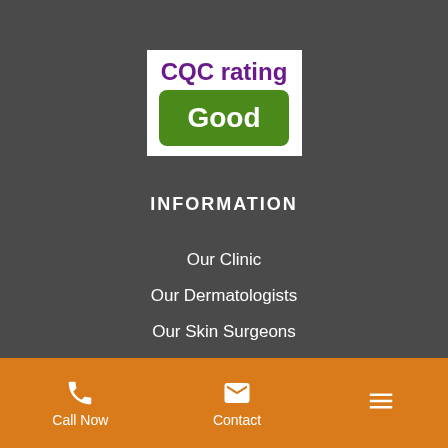[Figure (logo): CQC rating badge with purple text 'CQC rating' and green rounded rectangle with white bold text 'Good']
INFORMATION
Our Clinic
Our Dermatologists
Our Skin Surgeons
Book PCR Swab Test
Call Now   Contact